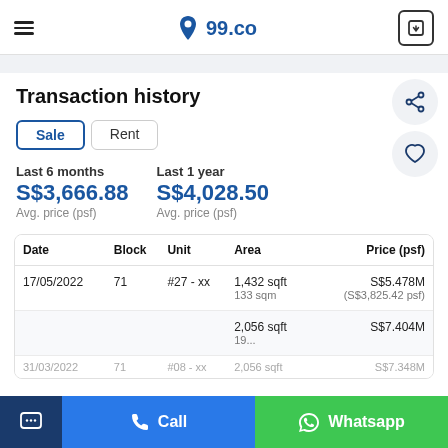99.co
Transaction history
Sale | Rent
Last 6 months
S$3,666.88
Avg. price (psf)
Last 1 year
S$4,028.50
Avg. price (psf)
| Date | Block | Unit | Area | Price (psf) |
| --- | --- | --- | --- | --- |
| 17/05/2022 | 71 | #27 - xx | 1,432 sqft
133 sqm | S$5.478M
(S$3,825.42 psf) |
|  |  |  | 2,056 sqft
19... | S$7.404M |
| 31/03/2022 | 71 | #08 - xx | 2,056 sqft | S$7.348M |